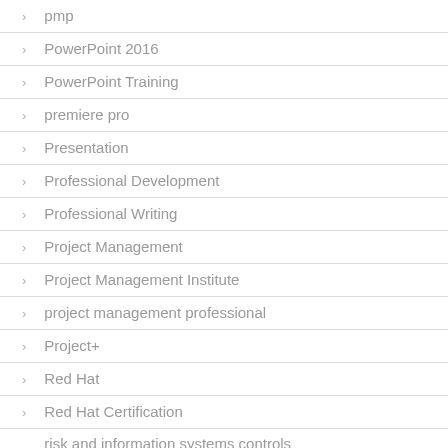pmp
PowerPoint 2016
PowerPoint Training
premiere pro
Presentation
Professional Development
Professional Writing
Project Management
Project Management Institute
project management professional
Project+
Red Hat
Red Hat Certification
risk and information systems controls certification